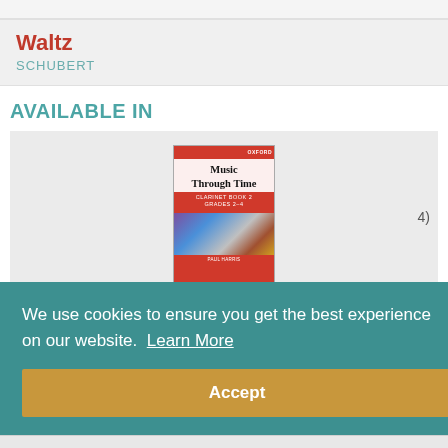Waltz
SCHUBERT
AVAILABLE IN
[Figure (photo): Book cover of 'Music Through Time – Clarinet Book 2, Grades 2-4' published by Oxford (OUP), red cover with clarinet imagery]
We use cookies to ensure you get the best experience on our website.  Learn More
Accept